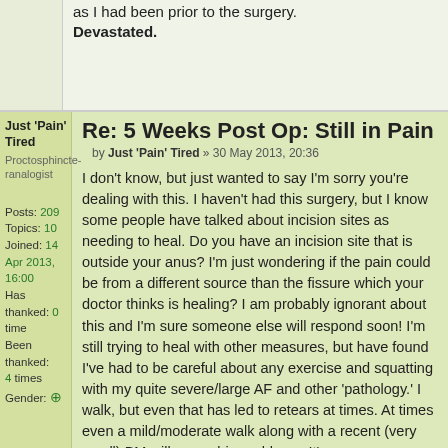as I had been prior to the surgery. Devastated.
Re: 5 Weeks Post Op: Still in Pain
by Just 'Pain' Tired » 30 May 2013, 20:36
Just 'Pain' Tired
Proctosphincteranalogist
Posts: 209
Topics: 10
Joined: 14 Apr 2013, 16:00
Has thanked: 0 time
Been thanked: 4 times
Gender: ⊕
I don't know, but just wanted to say I'm sorry you're dealing with this. I haven't had this surgery, but I know some people have talked about incision sites as needing to heal. Do you have an incision site that is outside your anus? I'm just wondering if the pain could be from a different source than the fissure which your doctor thinks is healing? I am probably ignorant about this and I'm sure someone else will respond soon! I'm still trying to heal with other measures, but have found I've had to be careful about any exercise and squatting with my quite severe/large AF and other 'pathology.' I walk, but even that has led to retears at times. At times even a mild/moderate walk along with a recent (very small) BM will cause big problems. It's